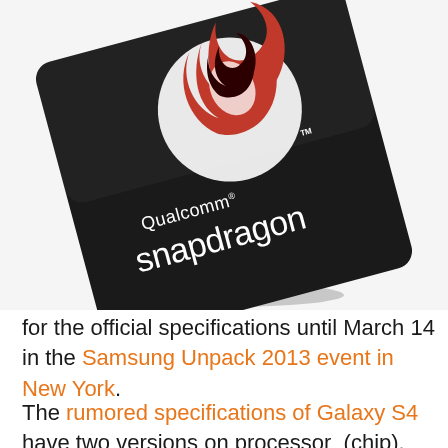[Figure (photo): Qualcomm Snapdragon processor chip on a dark background, chip is black with the Qualcomm Snapdragon logo and flame icon in red and white]
for the official specifications until March 14 in the Samsung Unpack 2013 event in New York.
The rumored specifications of Galaxy S4 have two versions on processor (chip). One